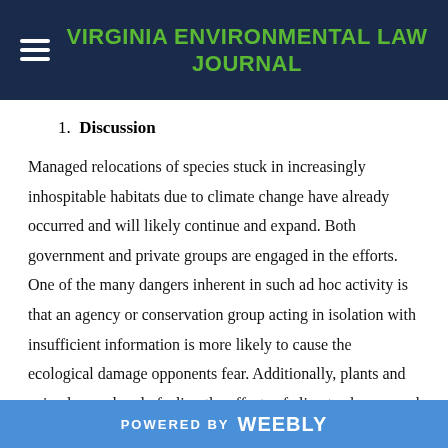VIRGINIA ENVIRONMENTAL LAW JOURNAL
1. Discussion
Managed relocations of species stuck in increasingly inhospitable habitats due to climate change have already occurred and will likely continue and expand. Both government and private groups are engaged in the efforts. One of the many dangers inherent in such ad hoc activity is that an agency or conservation group acting in isolation with insufficient information is more likely to cause the ecological damage opponents fear. Additionally, plants and animals are already feeling the effects of climate change, and some are not adjusting well. A subset of those species is unable to move to a more suitable environment, either
POWERED BY weebly